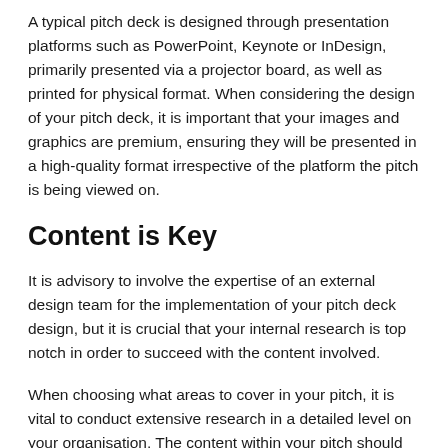A typical pitch deck is designed through presentation platforms such as PowerPoint, Keynote or InDesign, primarily presented via a projector board, as well as printed for physical format. When considering the design of your pitch deck, it is important that your images and graphics are premium, ensuring they will be presented in a high-quality format irrespective of the platform the pitch is being viewed on.
Content is Key
It is advisory to involve the expertise of an external design team for the implementation of your pitch deck design, but it is crucial that your internal research is top notch in order to succeed with the content involved.
When choosing what areas to cover in your pitch, it is vital to conduct extensive research in a detailed level on your organisation. The content within your pitch should provide a journey for potential investors, showcasing your purpose, your